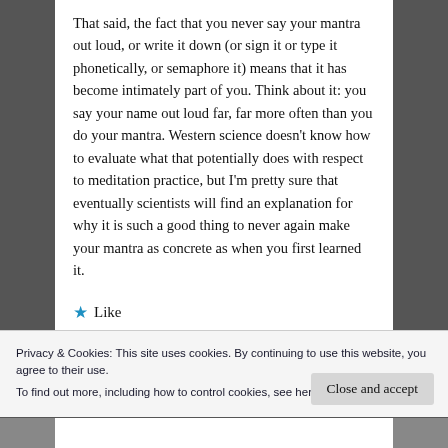That said, the fact that you never say your mantra out loud, or write it down (or sign it or type it phonetically, or semaphore it) means that it has become intimately part of you. Think about it: you say your name out loud far, far more often than you do your mantra. Western science doesn't know how to evaluate what that potentially does with respect to meditation practice, but I'm pretty sure that eventually scientists will find an explanation for why it is such a good thing to never again make your mantra as concrete as when you first learned it.
★ Like
Privacy & Cookies: This site uses cookies. By continuing to use this website, you agree to their use.
To find out more, including how to control cookies, see here: Cookie Policy